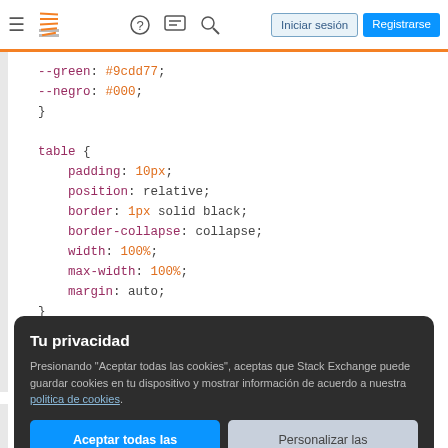Stack Exchange navigation bar with hamburger menu, logo, help, chat, search icons, Iniciar sesión and Registrarse buttons
--green: #9cdd77;
--negro: #000;
}

table {
    padding: 10px;
    position: relative;
    border: 1px solid black;
    border-collapse: collapse;
    width: 100%;
    max-width: 100%;
    margin: auto;
}
Tu privacidad
Presionando "Aceptar todas las cookies", aceptas que Stack Exchange puede guardar cookies en tu dispositivo y mostrar información de acuerdo a nuestra politica de cookies.
Aceptar todas las cookies
Personalizar las configuraciones
text-align: center;
    padding: 10px;